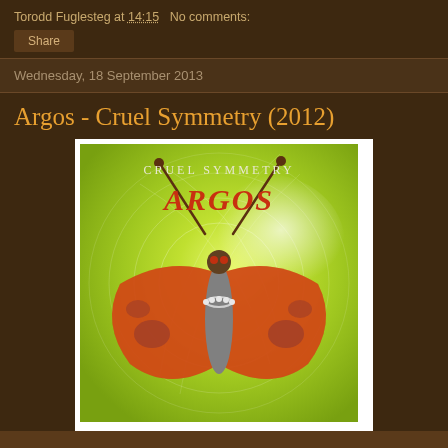Torodd Fuglesteg at 14:15   No comments:
Share
Wednesday, 18 September 2013
Argos - Cruel Symmetry (2012)
[Figure (illustration): Album cover for Argos - Cruel Symmetry (2012). Shows a large orange/red butterfly viewed from above against a green swirling background. Text at top reads 'CRUEL SYMMETRY' in light letters and 'ARGOS' in large red italic letters.]